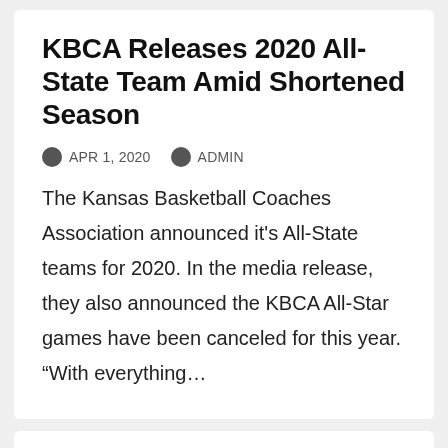KBCA Releases 2020 All-State Team Amid Shortened Season
APR 1, 2020   ADMIN
The Kansas Basketball Coaches Association announced it's All-State teams for 2020. In the media release, they also announced the KBCA All-Star games have been canceled for this year. “With everything…
FOOTBALL
Kansas Shrine Bowl Statement